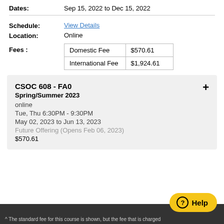Dates: Sep 15, 2022 to Dec 15, 2022
Schedule: View Details
Location: Online
|  |  |
| --- | --- |
| Domestic Fee | $570.61 |
| International Fee | $1,924.61 |
CSOC 608 - FA0
Spring/Summer 2023
online
Tue, Thu 6:30PM - 9:30PM
May 02, 2023 to Jun 13, 2023
Future Offering (Opens Feb 06, 2023)
$570.61
^ The standard fee for this course is shown, but the fee that is charged...